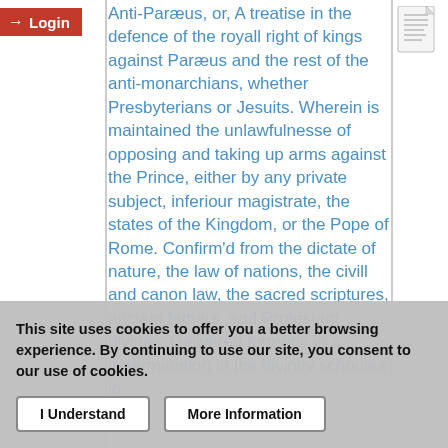Login
Anti-Paraeus, or, A treatise in the defence of the royall right of kings against Paraeus and the rest of the anti-monarchians, whether Presbyterians or Jesuits. Wherein is maintained the unlawfulnesse of opposing and taking up arms against the Prince, either by any private subject, inferiour magistrate, the states of the Kingdom, or the Pope of Rome. Confirm'd from the dictate of nature, the law of nations, the civill and canon law, the sacred scriptures, ancient fathers, and Protestant divines. Delivered formerly in a determination in the divinity schooles in ... Now translated and ... their loyalty to their king ... Master in Arts
This site uses cookies to offer you a better browsing experience. By continuing to use our site, you consent to our use of cookies.